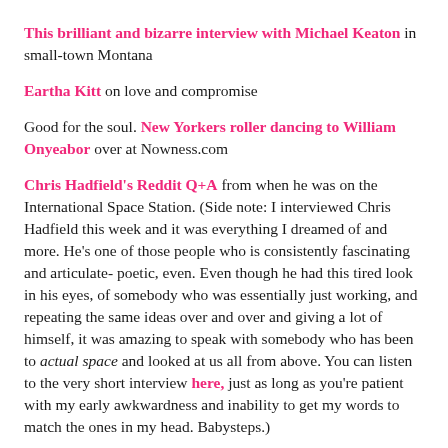This brilliant and bizarre interview with Michael Keaton in small-town Montana
Eartha Kitt on love and compromise
Good for the soul. New Yorkers roller dancing to William Onyeabor over at Nowness.com
Chris Hadfield's Reddit Q+A from when he was on the International Space Station. (Side note: I interviewed Chris Hadfield this week and it was everything I dreamed of and more. He's one of those people who is consistently fascinating and articulate- poetic, even. Even though he had this tired look in his eyes, of somebody who was essentially just working, and repeating the same ideas over and over and giving a lot of himself, it was amazing to speak with somebody who has been to actual space and looked at us all from above. You can listen to the very short interview here, just as long as you're patient with my early awkwardness and inability to get my words to match the ones in my head. Babysteps.)